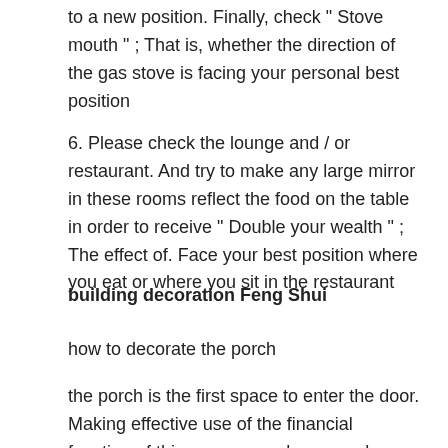to a new position. Finally, check " Stove mouth " ; That is, whether the direction of the gas stove is facing your personal best position
6. Please check the lounge and / or restaurant. And try to make any large mirror in these rooms reflect the food on the table in order to receive " Double your wealth " ; The effect of. Face your best position where you eat or where you sit in the restaurant
building decoration Feng Shui
how to decorate the porch
the porch is the first space to enter the door. Making effective use of the financial function of this space can play a good effect. Don’t set up a fan at the entrance